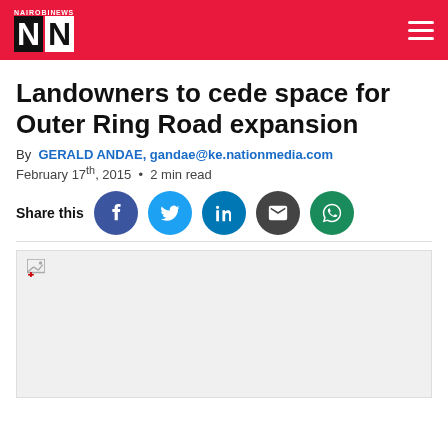Nairobi News
Landowners to cede space for Outer Ring Road expansion
By GERALD ANDAE, gandae@ke.nationmedia.com
February 17th, 2015 • 2 min read
Share this
[Figure (photo): Article image placeholder (failed to load)]